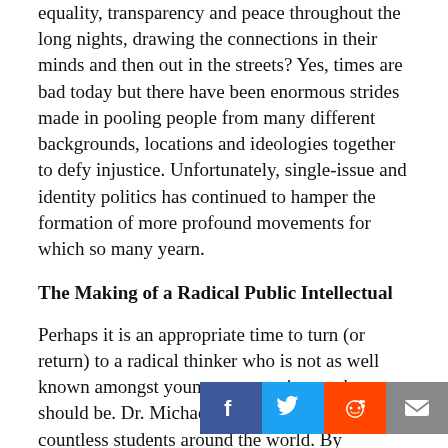equality, transparency and peace throughout the long nights, drawing the connections in their minds and then out in the streets? Yes, times are bad today but there have been enormous strides made in pooling people from many different backgrounds, locations and ideologies together to defy injustice. Unfortunately, single-issue and identity politics has continued to hamper the formation of more profound movements for which so many yearn.
The Making of a Radical Public Intellectual
Perhaps it is an appropriate time to turn (or return) to a radical thinker who is not as well known amongst younger generations as he should be. Dr. Michael Parenti has inspired countless students around the world. By covering a broad array of political topics, both international and domestic, he has woven important narratives about our modern world. He has a natural gift for conveying messages of struggle, unity with eloquence and humility. It is all too rare to